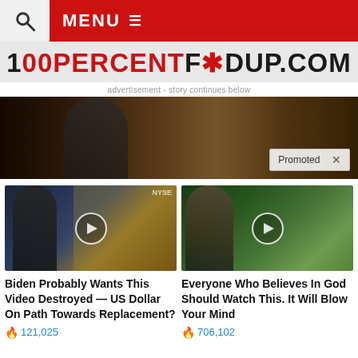MENU
[Figure (logo): 100PERCENTFEDUP.COM logo in bold black and red distressed font on light gray background]
advertisement - story continues below
[Figure (photo): Promoted banner image showing a man's face in dim lighting, with a 'Promoted X' badge in bottom right corner]
[Figure (photo): Video thumbnail showing a man in a suit at what appears to be NYSE/stock exchange, with a play button overlay]
Biden Probably Wants This Video Destroyed — US Dollar On Path Towards Replacement?
121,025
[Figure (photo): Video thumbnail showing a woman pointing, with a play button overlay and foliage in background]
Everyone Who Believes In God Should Watch This. It Will Blow Your Mind
706,102